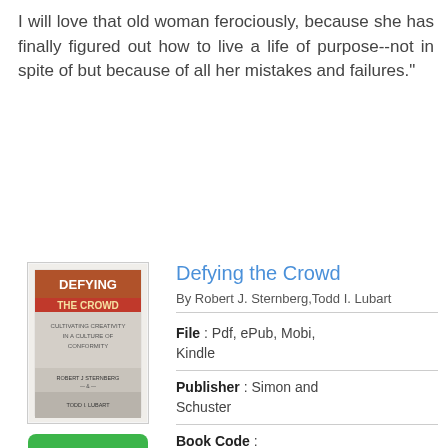I will love that old woman ferociously, because she has finally figured out how to live a life of purpose--not in spite of but because of all her mistakes and failures."
[Figure (illustration): Book cover of 'Defying the Crowd' by Robert J. Sternberg and Todd I. Lubart, showing the title in bold letters with decorative design]
[Figure (other): Green button with text 'READ PDF']
Defying the Crowd
By Robert J. Sternberg,Todd I. Lubart
File : Pdf, ePub, Mobi, Kindle
Publisher : Simon and Schuster
Book Code : 1439105944
Total of Pages : 336